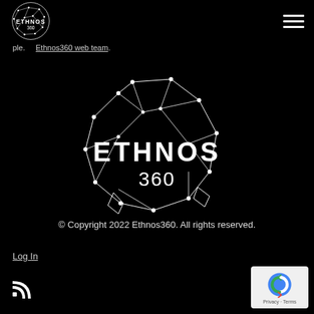[Figure (logo): Ethnos360 logo small — globe made of constellation lines with ETHNOS 360 text]
ple.   Ethnos360 web team.
[Figure (logo): Large Ethnos360 logo centered — globe constellation graphic with ETHNOS 360 white text]
© Copyright 2022 Ethnos360. All rights reserved.
Log In
[Figure (other): RSS feed icon]
[Figure (other): reCAPTCHA badge — Privacy · Terms]